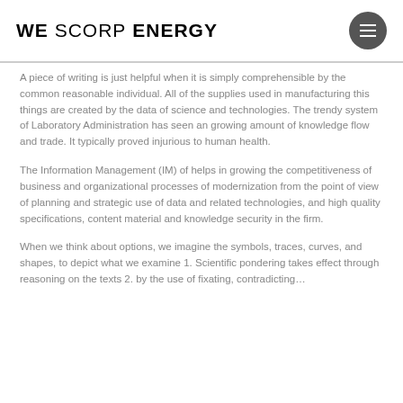WE SCORP ENERGY
A piece of writing is just helpful when it is simply comprehensible by the common reasonable individual. All of the supplies used in manufacturing this things are created by the data of science and technologies. The trendy system of Laboratory Administration has seen an growing amount of knowledge flow and trade. It typically proved injurious to human health.
The Information Management (IM) of helps in growing the competitiveness of business and organizational processes of modernization from the point of view of planning and strategic use of data and related technologies, and high quality specifications, content material and knowledge security in the firm.
When we think about options, we imagine the symbols, traces, curves, and shapes, to depict what we examine 1. Scientific pondering takes effect through reasoning on the texts 2. by the use of fixating, contradicting…